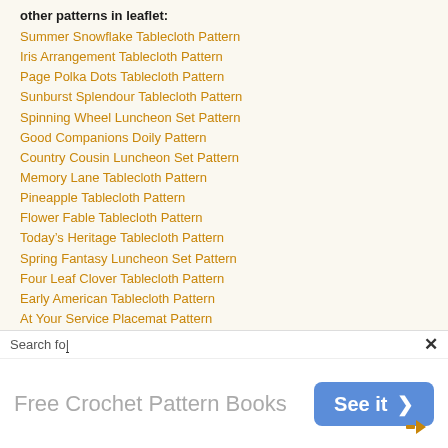other patterns in leaflet:
Summer Snowflake Tablecloth Pattern
Iris Arrangement Tablecloth Pattern
Page Polka Dots Tablecloth Pattern
Sunburst Splendour Tablecloth Pattern
Spinning Wheel Luncheon Set Pattern
Good Companions Doily Pattern
Country Cousin Luncheon Set Pattern
Memory Lane Tablecloth Pattern
Pineapple Tablecloth Pattern
Flower Fable Tablecloth Pattern
Today's Heritage Tablecloth Pattern
Spring Fantasy Luncheon Set Pattern
Four Leaf Clover Tablecloth Pattern
Early American Tablecloth Pattern
At Your Service Placemat Pattern
Trailing Vine Tablecloth Pattern
[Figure (screenshot): Advertisement overlay with search bar text 'Search for', close button X, ad text 'Free Crochet Pattern Books' and a blue 'See it >' button]